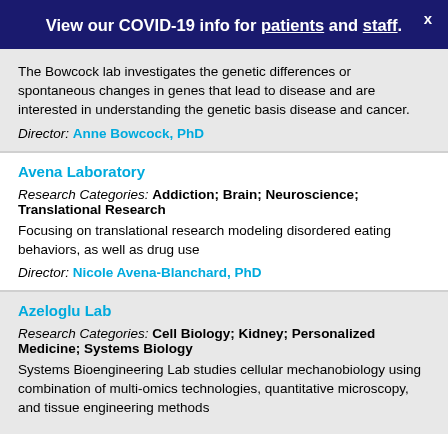View our COVID-19 info for patients and staff.
The Bowcock lab investigates the genetic differences or spontaneous changes in genes that lead to disease and are interested in understanding the genetic basis disease and cancer.
Director: Anne Bowcock, PhD
Avena Laboratory
Research Categories: Addiction; Brain; Neuroscience; Translational Research
Focusing on translational research modeling disordered eating behaviors, as well as drug use
Director: Nicole Avena-Blanchard, PhD
Azeloglu Lab
Research Categories: Cell Biology; Kidney; Personalized Medicine; Systems Biology
Systems Bioengineering Lab studies cellular mechanobiology using combination of multi-omics technologies, quantitative microscopy, and tissue engineering methods